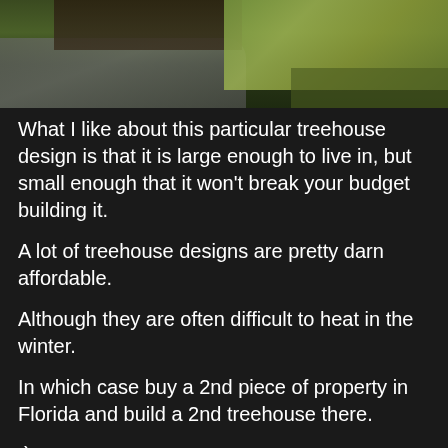[Figure (photo): Partial view of a covered structure or treehouse with road and green vegetation/hillside, bottom portion of outdoor scene]
What I like about this particular treehouse design is that it is large enough to live in, but small enough that it won't break your budget building it.
A lot of treehouse designs are pretty darn affordable.
Although they are often difficult to heat in the winter.
In which case buy a 2nd piece of property in Florida and build a 2nd treehouse there.
:)
No comments:
Share
Glass Treehouse